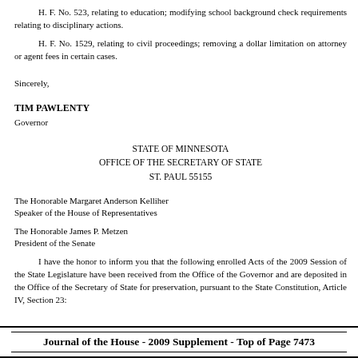H. F. No. 523, relating to education; modifying school background check requirements relating to disciplinary actions.
H. F. No. 1529, relating to civil proceedings; removing a dollar limitation on attorney or agent fees in certain cases.
Sincerely,
TIM PAWLENTY
Governor
STATE OF MINNESOTA
OFFICE OF THE SECRETARY OF STATE
ST. PAUL 55155
The Honorable Margaret Anderson Kelliher
Speaker of the House of Representatives
The Honorable James P. Metzen
President of the Senate
I have the honor to inform you that the following enrolled Acts of the 2009 Session of the State Legislature have been received from the Office of the Governor and are deposited in the Office of the Secretary of State for preservation, pursuant to the State Constitution, Article IV, Section 23:
Journal of the House - 2009 Supplement - Top of Page 7473